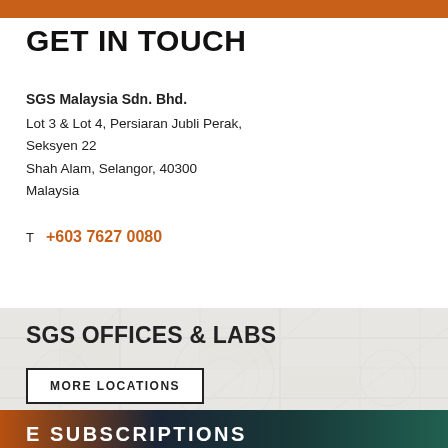GET IN TOUCH
SGS Malaysia Sdn. Bhd.
Lot 3 & Lot 4, Persiaran Jubli Perak,
Seksyen 22
Shah Alam, Selangor, 40300
Malaysia

T  +603 7627 0080
SGS OFFICES & LABS
MORE LOCATIONS
E SUBSCRIPTIONS